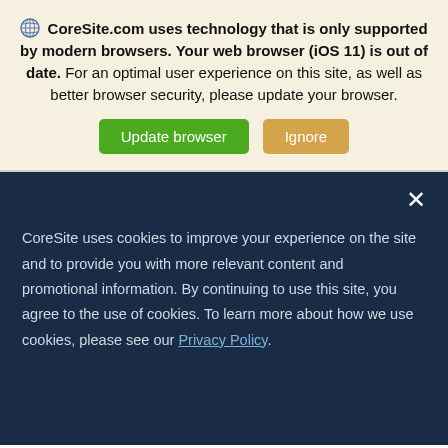CoreSite.com uses technology that is only supported by modern browsers. Your web browser (iOS 11) is out of date. For an optimal user experience on this site, as well as better browser security, please update your browser.
[Figure (screenshot): Two buttons: green 'Update browser' and orange 'Ignore']
CoreSite uses cookies to improve your experience on the site and to provide you with more relevant content and promotional information. By continuing to use this site, you agree to the use of cookies. To learn more about how we use cookies, please see our Privacy Policy.